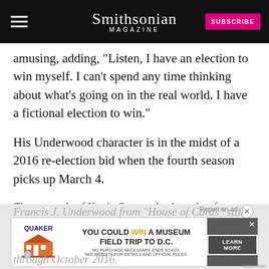Smithsonian MAGAZINE
amusing, adding, "Listen, I have an election to win myself. I can't spend any time thinking about what's going on in the real world. I have a fictional election to win."
His Underwood character is in the midst of a 2016 re-election bid when the fourth season picks up March 4.
The portrait of Kevin Spacey in the role of President Francis J. Underwood from "House of Cards" still remains... through October 2016.